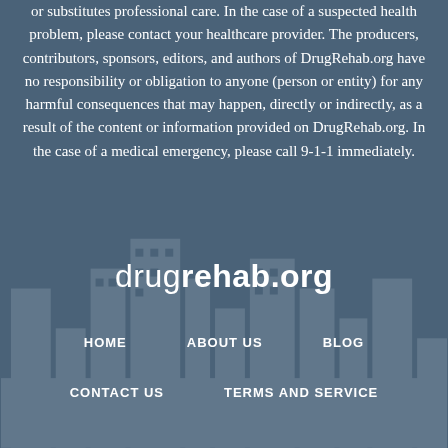or substitutes professional care. In the case of a suspected health problem, please contact your healthcare provider. The producers, contributors, sponsors, editors, and authors of DrugRehab.org have no responsibility or obligation to anyone (person or entity) for any harmful consequences that may happen, directly or indirectly, as a result of the content or information provided on DrugRehab.org. In the case of a medical emergency, please call 9-1-1 immediately.
[Figure (illustration): City skyline silhouette in muted blue-gray tones as background watermark]
drugrehab.org
HOME
ABOUT US
BLOG
CONTACT US
TERMS AND SERVICE